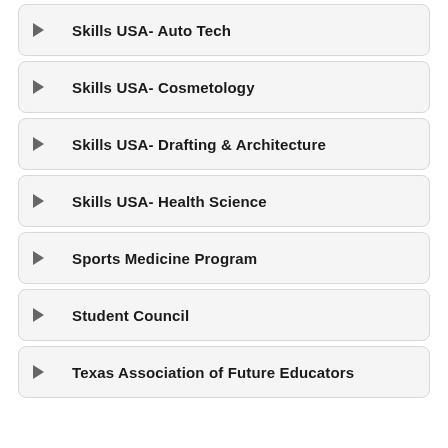Skills USA- Auto Tech
Skills USA- Cosmetology
Skills USA- Drafting & Architecture
Skills USA- Health Science
Sports Medicine Program
Student Council
Texas Association of Future Educators